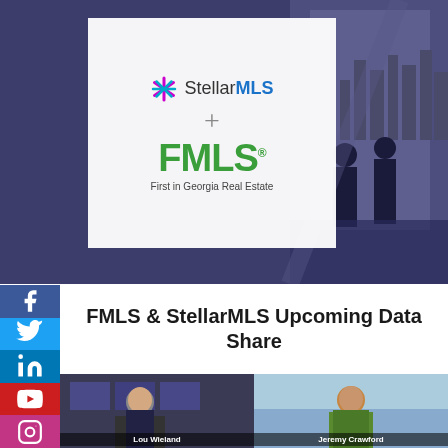[Figure (illustration): Hero banner with dark blue-purple overlay background showing silhouettes of two people. Foreground white box contains StellarMLS logo (star icon + text) plus sign and FMLS logo in green with tagline 'First in Georgia Real Estate'.]
FMLS & StellarMLS Upcoming Data Share
[Figure (photo): Two-panel video thumbnail: left panel shows Lou Wieland (older man in dark suit), right panel shows Jeremy Crawford (man in green shirt). Both labeled at bottom.]